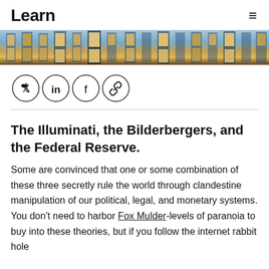Learn
[Figure (photo): Close-up of an ornate building facade with stained glass windows illuminated in golden and blue tones]
[Figure (infographic): Four social sharing icons in circles: Twitter, LinkedIn, Facebook, and link/chain]
The Illuminati, the Bilderbergers, and the Federal Reserve.
Some are convinced that one or some combination of these three secretly rule the world through clandestine manipulation of our political, legal, and monetary systems. You don't need to harbor Fox Mulder-levels of paranoia to buy into these theories, but if you follow the internet rabbit hole